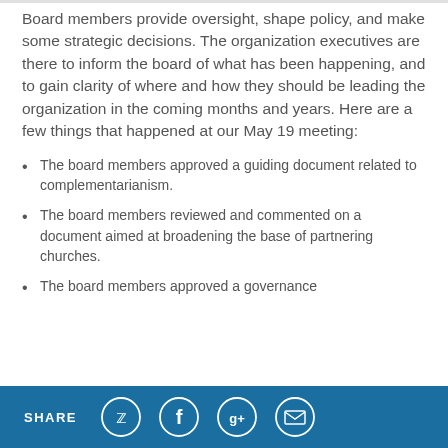Board members provide oversight, shape policy, and make some strategic decisions. The organization executives are there to inform the board of what has been happening, and to gain clarity of where and how they should be leading the organization in the coming months and years. Here are a few things that happened at our May 19 meeting:
The board members approved a guiding document related to complementarianism.
The board members reviewed and commented on a document aimed at broadening the base of partnering churches.
The board members approved a governance
SHARE